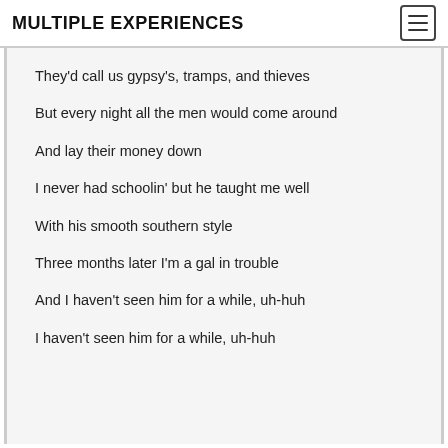MULTIPLE EXPERIENCES
They'd call us gypsy's, tramps, and thieves
But every night all the men would come around
And lay their money down
I never had schoolin' but he taught me well
With his smooth southern style
Three months later I'm a gal in trouble
And I haven't seen him for a while, uh-huh
I haven't seen him for a while, uh-huh